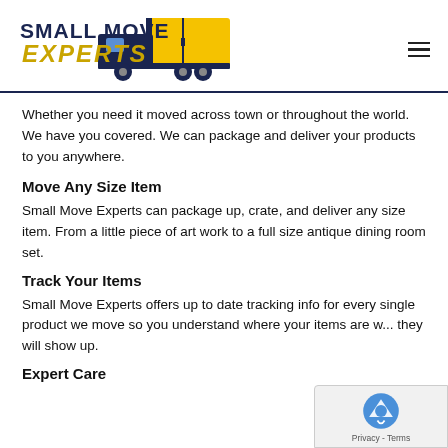[Figure (logo): Small Move Experts logo with dark blue text 'SMALL MOVE' above italic gold 'EXPERTS' text, and a yellow/dark blue moving truck to the right]
Whether you need it moved across town or throughout the world. We have you covered. We can package and deliver your products to you anywhere.
Move Any Size Item
Small Move Experts can package up, crate, and deliver any size item. From a little piece of art work to a full size antique dining room set.
Track Your Items
Small Move Experts offers up to date tracking info for every single product we move so you understand where your items are w... they will show up.
Expert Care